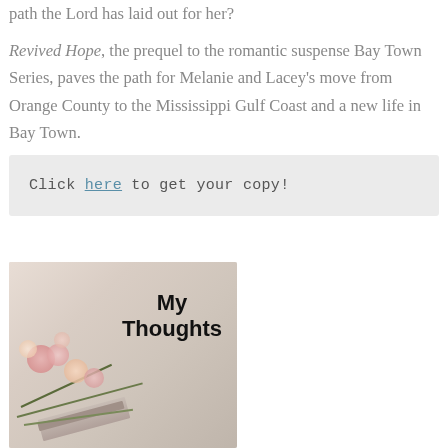path the Lord has laid out for her? Revived Hope, the prequel to the romantic suspense Bay Town Series, paves the path for Melanie and Lacey's move from Orange County to the Mississippi Gulf Coast and a new life in Bay Town.
Click here to get your copy!
[Figure (photo): Photo of a book with pink and white flowers (tulips/roses) arranged on a white textured surface, with bold black text overlay reading 'My Thoughts']